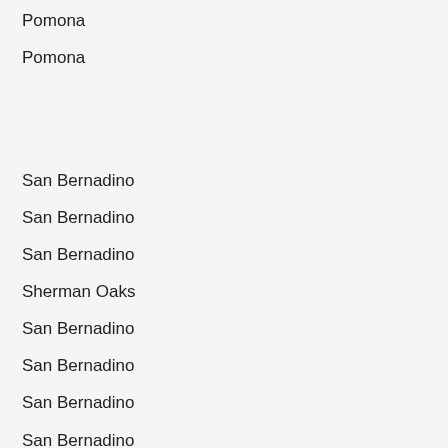Pomona
Pomona
San Bernadino
San Bernadino
San Bernadino
Sherman Oaks
San Bernadino
San Bernadino
San Bernadino
San Bernadino